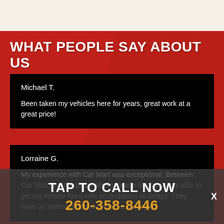WHAT PEOPLE SAY ABOUT US
Michael T.

Been taken my vehicles here for years, great work at a great price!
Lorraine G.

My experience with Car Mart was exceptional. Between Car Mart and the place where I lease my car, I was able to get my vehicle fixed with no problems or delays. They have an awesome team and do a great job.
TAP TO CALL NOW
260-358-8446